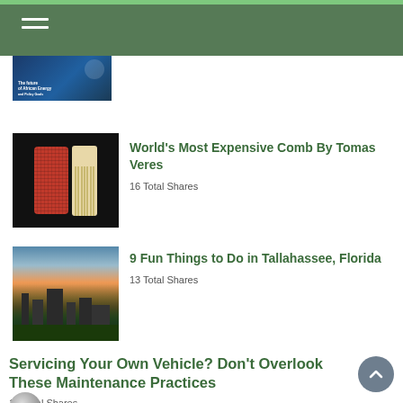Navigation header with hamburger menu
[Figure (photo): Partially visible article thumbnail at top, appears to be a dark blue book cover about African Energy]
World's Most Expensive Comb By Tomas Veres
16 Total Shares
[Figure (photo): Black background with red sponge-like comb and beige/ivory fine-tooth comb side by side]
9 Fun Things to Do in Tallahassee, Florida
13 Total Shares
[Figure (photo): Aerial cityscape photo of Tallahassee Florida at sunset with pink and blue sky]
Servicing Your Own Vehicle? Don't Overlook These Maintenance Practices
13 Total Shares
Lady Gaga Photo Book by Terry